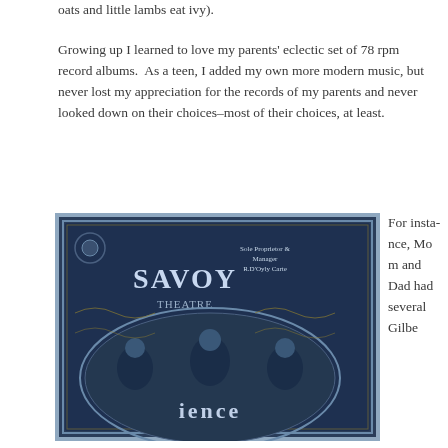oats and little lambs eat ivy).
Growing up I learned to love my parents' eclectic set of 78 rpm record albums.  As a teen, I added my own more modern music, but never lost my appreciation for the records of my parents and never looked down on their choices–most of their choices, at least.
[Figure (photo): Savoy Theatre program cover with ornate Art Nouveau design in blue and gold. Text reads 'Savoy Theatre', 'Sole Proprietor & Manager R.D'Oyly Carte'. Shows decorative floral patterns and figures.]
For instance, Mom and Dad had several Gilbe